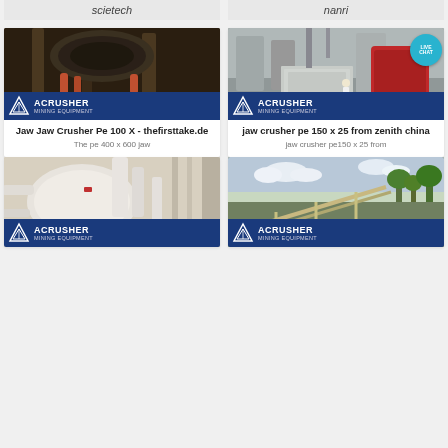scietech
nanri
[Figure (photo): Industrial jaw crusher machinery photographed from below, showing heavy metal components, rust, and hydraulic cylinders. ACRUSHER Mining Equipment badge visible at bottom.]
[Figure (photo): Industrial mining equipment inside a facility, featuring a large red and grey grinding mill. ACRUSHER Mining Equipment badge and LIVE CHAT bubble visible.]
Jaw Jaw Crusher Pe 100 X - thefirsttake.de
The pe 400 x 600 jaw
jaw crusher pe 150 x 25 from zenith china
jaw crusher pe150 x 25 from
[Figure (photo): White industrial ball mill or grinding machine with piping, photographed close-up. ACRUSHER Mining Equipment badge at bottom.]
[Figure (photo): Outdoor mining conveyor and screening equipment setup in a rural area with trees and sky visible. ACRUSHER Mining Equipment badge at bottom.]